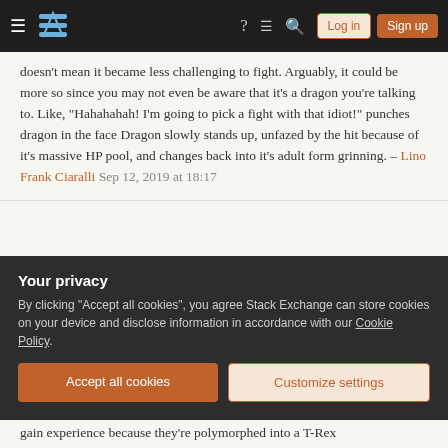Stack Exchange navigation bar with hamburger menu, logo, help icon, chat icon, search icon, Log in button, Sign up button
doesn't mean it became less challenging to fight. Arguably, it could be more so since you may not even be aware that it's a dragon you're talking to. Like, "Hahahahah! I'm going to pick a fight with that idiot!" punches dragon in the face Dragon slowly stands up, unfazed by the hit because of it's massive HP pool, and changes back into it's adult form grinning. – Lino Frank Ciaralli Sep 12, 2019 at 18:17
I agree with you! The rules here are stupid, and I've explained this in my answer. – Dan B Sep 12, 2019 at 18:43
@LinoFrankCiaralli I'm just saying: when the rules are stupid, the correct response is to say: "the rules are stupid, don't follow them". The correct response is not to lie about
Your privacy
By clicking "Accept all cookies", you agree Stack Exchange can store cookies on your device and disclose information in accordance with our Cookie Policy.
Accept all cookies
Customize settings
gain experience because they're polymorphed into a T-Rex